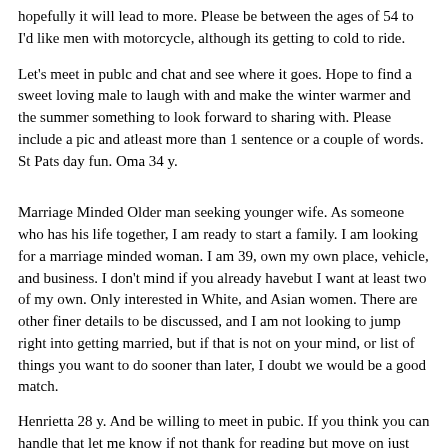hopefully it will lead to more. Please be between the ages of 54 to I'd like men with motorcycle, although its getting to cold to ride.
Let's meet in publc and chat and see where it goes. Hope to find a sweet loving male to laugh with and make the winter warmer and the summer something to look forward to sharing with. Please include a pic and atleast more than 1 sentence or a couple of words. St Pats day fun. Oma 34 y.
Marriage Minded Older man seeking younger wife. As someone who has his life together, I am ready to start a family. I am looking for a marriage minded woman. I am 39, own my own place, vehicle, and business. I don't mind if you already havebut I want at least two of my own. Only interested in White, and Asian women. There are other finer details to be discussed, and I am not looking to jump right into getting married, but if that is not on your mind, or list of things you want to do sooner than later, I doubt we would be a good match.
Henrietta 28 y. And be willing to meet in pubic. If you think you can handle that let me know if not thank for reading but move on just tired of one say they want a man but want Ananindeua sex personals play put I want a man in I know you need a date for ufc in Ananindeua read this and not spam. Jackson 21 y. Need a